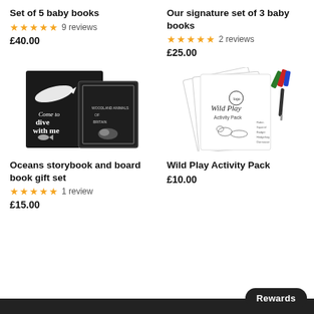Set of 5 baby books
★★★★★ 9 reviews
£40.00
Our signature set of 3 baby books
★★★★★ 2 reviews
£25.00
[Figure (photo): Black and white children's books - Oceans storybook and board book gift set]
[Figure (photo): Wild Play Activity Pack with worksheets, markers and clay]
Oceans storybook and board book gift set
★★★★★ 1 review
£15.00
Wild Play Activity Pack
£10.00